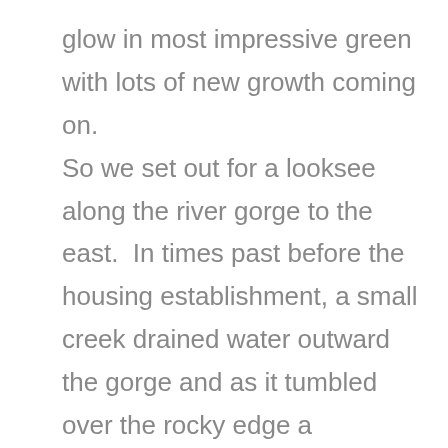glow in most impressive green with lots of new growth coming on. So we set out for a looksee along the river gorge to the east.  In times past before the housing establishment, a small creek drained water outward the gorge and as it tumbled over the rocky edge a wonderful waterfall would suddenly appear.   And. Today was such a day.  The little creek has now been somewhat controlled to a drain-way through the estate, but in the last few hundred metres runs over the rocky ground, forming little pools as it goes.   Then. Taking is self to the edge, it plunges down the 30 or so metres to empty